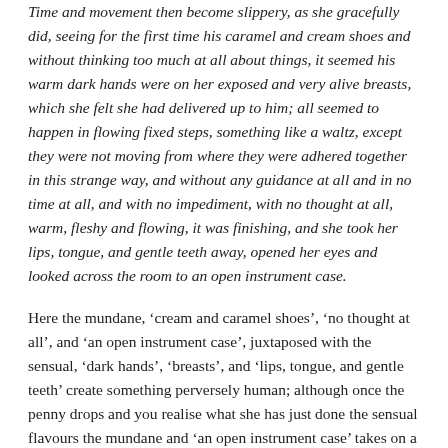Time and movement then become slippery, as she gracefully did, seeing for the first time his caramel and cream shoes and without thinking too much at all about things, it seemed his warm dark hands were on her exposed and very alive breasts, which she felt she had delivered up to him; all seemed to happen in flowing fixed steps, something like a waltz, except they were not moving from where they were adhered together in this strange way, and without any guidance at all and in no time at all, and with no impediment, with no thought at all, warm, fleshy and flowing, it was finishing, and she took her lips, tongue, and gentle teeth away, opened her eyes and looked across the room to an open instrument case.
Here the mundane, ‘cream and caramel shoes’, ‘no thought at all’, and ‘an open instrument case’, juxtaposed with the sensual, ‘dark hands’, ‘breasts’, and ‘lips, tongue, and gentle teeth’ create something perversely human; although once the penny drops and you realise what she has just done the sensual flavours the mundane and ‘an open instrument case’ takes on a brand-new meaning entirely.